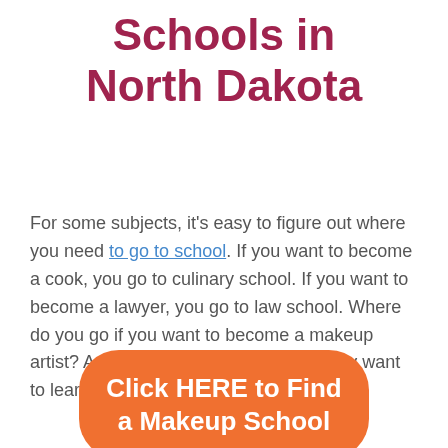Schools in North Dakota
For some subjects, it's easy to figure out where you need to go to school. If you want to become a cook, you go to culinary school. If you want to become a lawyer, you go to law school. Where do you go if you want to become a makeup artist? And where do you go if you simply want to learn more about makeup?
[Figure (other): Orange rounded rectangle button with white text: Click HERE to Find a Makeup School]